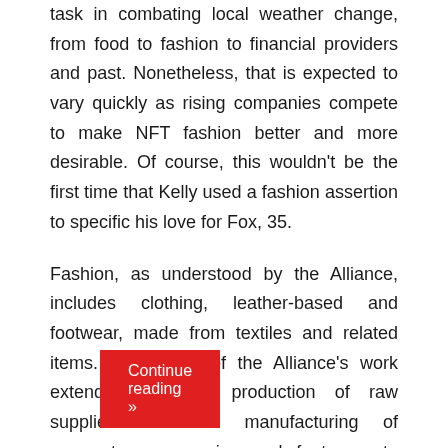task in combating local weather change, from food to fashion to financial providers and past. Nonetheless, that is expected to vary quickly as rising companies compete to make NFT fashion better and more desirable. Of course, this wouldn't be the first time that Kelly used a fashion assertion to specific his love for Fox, 35.

Fashion, as understood by the Alliance, includes clothing, leather-based and footwear, made from textiles and related items. The scope of the Alliance's work extends from the production of raw supplies and the manufacturing of garments, accessories and footwear, to their distribution, consumption, and disposal. Millions flip to Vox to know complicated ...
Continue reading »